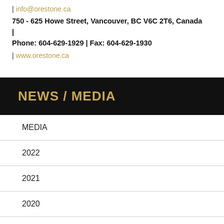| info@orestone.ca
750 - 625 Howe Street, Vancouver, BC V6C 2T6, Canada | Phone: 604-629-1929 | Fax: 604-629-1930
| www.orestone.ca
NEWS / MEDIA
MEDIA
2022
2021
2020